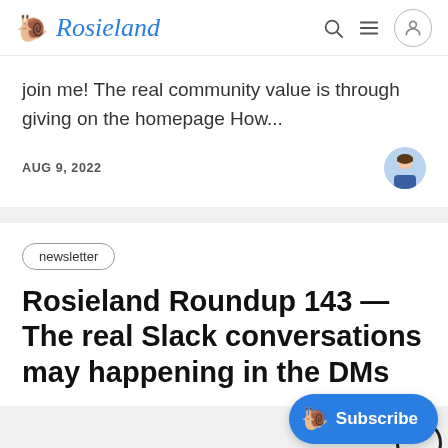Rosieland
join me! The real community value is through giving on the homepage How...
AUG 9, 2022
newsletter
Rosieland Roundup 143 — The real Slack conversations may happening in the DMs